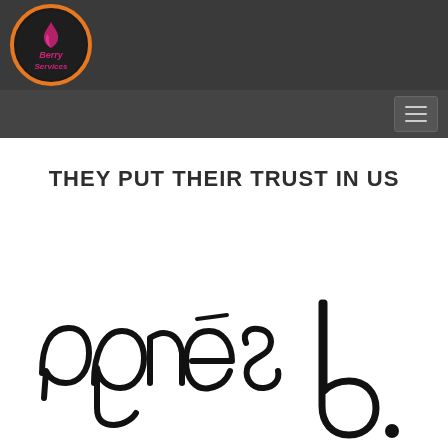[Figure (logo): Berry Services company logo - circular badge with orange ring, dark background, pink cursive text 'Berry Services' with a flame/figure icon]
THEY PUT THEIR TRUST IN US
[Figure (logo): agnes b. brand logo in large handwritten/script black text on white background]